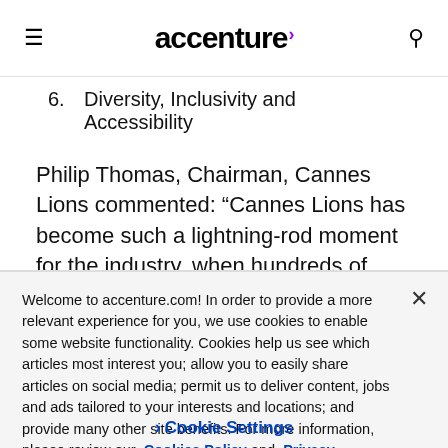accenture
6.    Diversity, Inclusivity and Accessibility
Philip Thomas, Chairman, Cannes Lions commented: “Cannes Lions has become such a lightning-rod moment for the industry, when hundreds of speeches are given, thousands of pieces of work are
Welcome to accenture.com! In order to provide a more relevant experience for you, we use cookies to enable some website functionality. Cookies help us see which articles most interest you; allow you to easily share articles on social media; permit us to deliver content, jobs and ads tailored to your interests and locations; and provide many other site benefits. For more information, please review our Cookies Policy and Privacy Statement.
› Cookie Settings